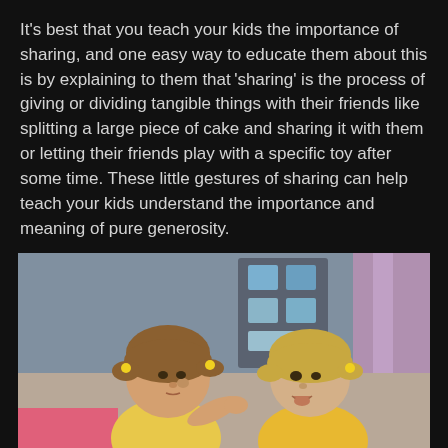It's best that you teach your kids the importance of sharing, and one easy way to educate them about this is by explaining to them that 'sharing' is the process of giving or dividing tangible things with their friends like splitting a large piece of cake and sharing it with them or letting their friends play with a specific toy after some time. These little gestures of sharing can help teach your kids understand the importance and meaning of pure generosity.
[Figure (photo): Two young toddler girls facing each other. The girl on the left has her hair in pigtails with yellow hair ties and is feeding the girl on the right, who also has pigtails with yellow hair ties and her mouth open. They appear to be in a classroom or play area setting.]